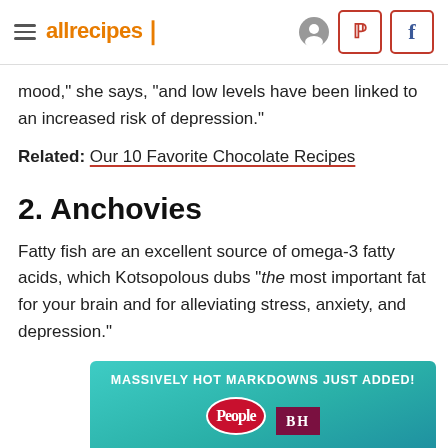allrecipes
mood," she says, "and low levels have been linked to an increased risk of depression."
Related: Our 10 Favorite Chocolate Recipes
2. Anchovies
Fatty fish are an excellent source of omega-3 fatty acids, which Kotsopolous dubs "the most important fat for your brain and for alleviating stress, anxiety, and depression."
[Figure (other): Advertisement banner with teal background reading MASSIVELY HOT MARKDOWNS JUST ADDED! with People magazine and BH logos below]